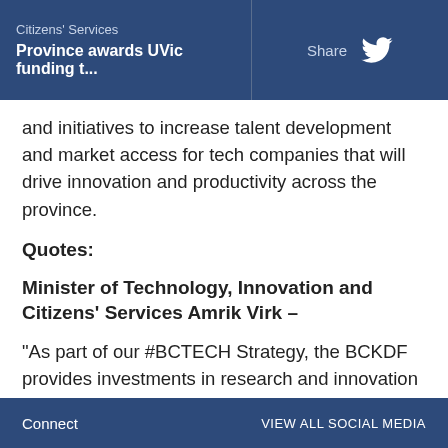Citizens' Services | Province awards UVic funding t... | Share
and initiatives to increase talent development and market access for tech companies that will drive innovation and productivity across the province.
Quotes:
Minister of Technology, Innovation and Citizens' Services Amrik Virk –
“As part of our #BCTECH Strategy, the BCKDF provides investments in research and innovation that will explore new frontiers in life sciences, rehabilitation and sport performance, and astrophysics among many other
Connect | VIEW ALL SOCIAL MEDIA